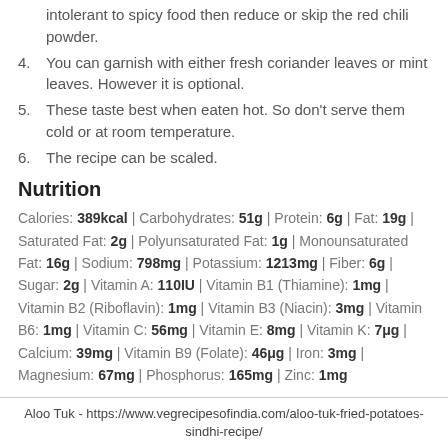intolerant to spicy food then reduce or skip the red chili powder.
You can garnish with either fresh coriander leaves or mint leaves. However it is optional.
These taste best when eaten hot. So don't serve them cold or at room temperature.
The recipe can be scaled.
Nutrition
Calories: 389kcal | Carbohydrates: 51g | Protein: 6g | Fat: 19g | Saturated Fat: 2g | Polyunsaturated Fat: 1g | Monounsaturated Fat: 16g | Sodium: 798mg | Potassium: 1213mg | Fiber: 6g | Sugar: 2g | Vitamin A: 110IU | Vitamin B1 (Thiamine): 1mg | Vitamin B2 (Riboflavin): 1mg | Vitamin B3 (Niacin): 3mg | Vitamin B6: 1mg | Vitamin C: 56mg | Vitamin E: 8mg | Vitamin K: 7μg | Calcium: 39mg | Vitamin B9 (Folate): 46μg | Iron: 3mg | Magnesium: 67mg | Phosphorus: 165mg | Zinc: 1mg
Aloo Tuk - https://www.vegrecipesofindia.com/aloo-tuk-fried-potatoes-sindhi-recipe/